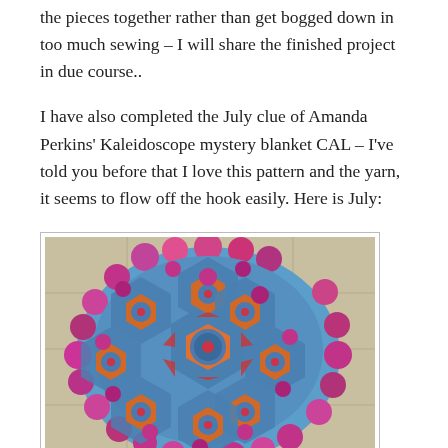the pieces together rather than get bogged down in too much sewing – I will share the finished project in due course..
I have also completed the July clue of Amanda Perkins' Kaleidoscope mystery blanket CAL – I've told you before that I love this pattern and the yarn, it seems to flow off the hook easily. Here is July:
[Figure (photo): A colorful kaleidoscope crochet blanket laid on a tiled floor, featuring hexagonal motifs in blue, orange, red, magenta, and purple arranged in a circular pattern with scalloped edges.]